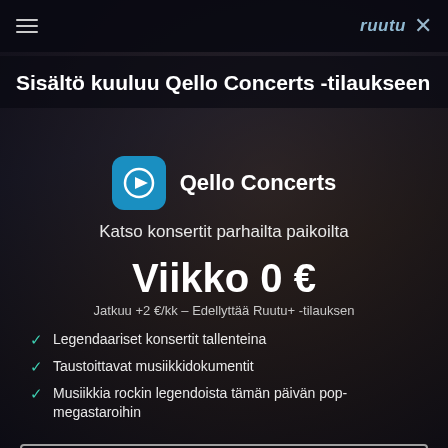≡  ruutu ×
Sisältö kuuluu Qello Concerts -tilaukseen
[Figure (logo): Qello Concerts app icon: teal/blue square with rounded corners, white circle outline with play button inside]
Qello Concerts
Katso konsertit parhailta paikoilta
Viikko 0 €
Jatkuu +2 €/kk – Edellyttää Ruutu+ -tilauksen
Legendaariset konsertit tallenteina
Taustoittavat musiikkidokumentit
Musiikkia rockin legendoista tämän päivän pop-megastaroihin
ALOITA MAKSUTON KOKEILU